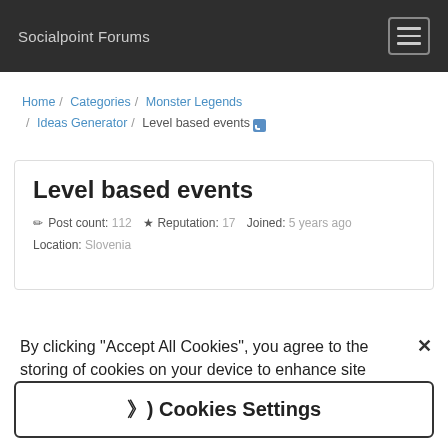Socialpoint Forums
Home / Categories / Monster Legends / Ideas Generator / Level based events
Level based events
Post count: 112  Reputation: 17  Joined: 5 years ago  Location: Slovenia
By clicking "Accept All Cookies", you agree to the storing of cookies on your device to enhance site navigation, analyze site usage, and assist in our marketing efforts.
》Cookies Settings